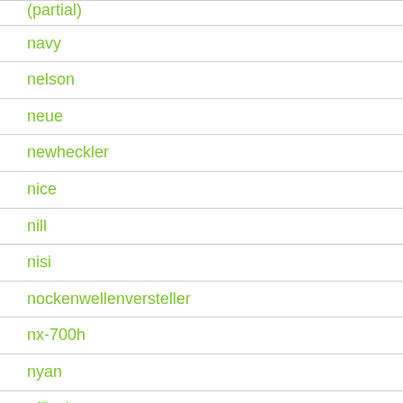navy
nelson
neue
newheckler
nice
nill
nisi
nockenwellenversteller
nx-700h
nyan
officejet
oldschool